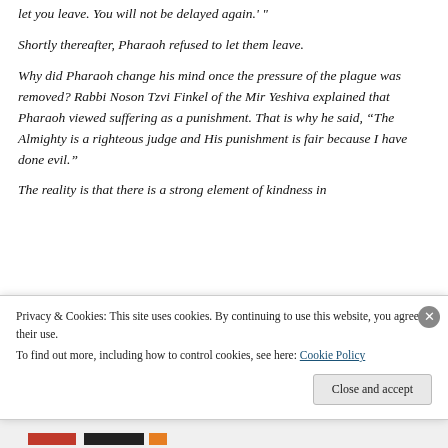let you leave. You will not be delayed again.'"
Shortly thereafter, Pharaoh refused to let them leave.
Why did Pharaoh change his mind once the pressure of the plague was removed? Rabbi Noson Tzvi Finkel of the Mir Yeshiva explained that Pharaoh viewed suffering as a punishment. That is why he said, “The Almighty is a righteous judge and His punishment is fair because I have done evil.”
The reality is that there is a strong element of kindness in
Privacy & Cookies: This site uses cookies. By continuing to use this website, you agree to their use.
To find out more, including how to control cookies, see here: Cookie Policy